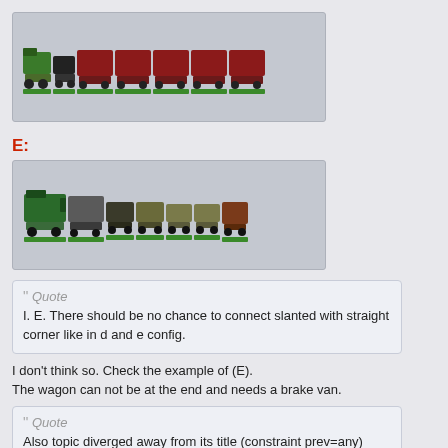[Figure (illustration): Pixel-art style train consisting of a green steam locomotive followed by a tender and several dark red passenger coaches, all on green track bases, against a grey background.]
E:
[Figure (illustration): Pixel-art style train with a green diesel/electric locomotive followed by a passenger car, then several olive/khaki freight/goods wagons and ending with a brown brake van, all on green track bases, against a grey background.]
Quote
I. E. There should be no chance to connect slanted with straight corner like in d and e config.
I don't think so. Check the example of (E).
The wagon can not be at the end and needs a brake van.
Quote
Also topic diverged away from its title (constraint prev=any)
Yes, I know. What I am aiming for in this thread is simple and not complicated, the